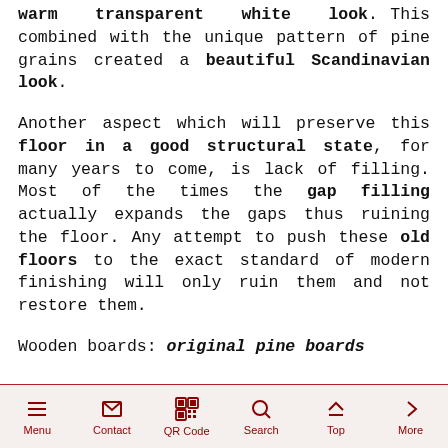warm transparent white look. This combined with the unique pattern of pine grains created a beautiful Scandinavian look. Another aspect which will preserve this floor in a good structural state, for many years to come, is lack of filling. Most of the times the gap filling actually expands the gaps thus ruining the floor. Any attempt to push these old floors to the exact standard of modern finishing will only ruin them and not restore them. Wooden boards: original pine boards
Menu | Contact | QR Code | Search | Top | More